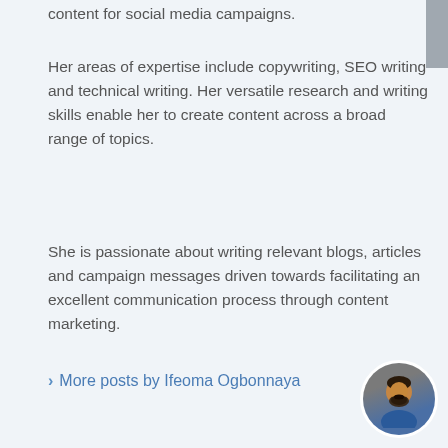content for social media campaigns.
Her areas of expertise include copywriting, SEO writing and technical writing. Her versatile research and writing skills enable her to create content across a broad range of topics.
She is passionate about writing relevant blogs, articles and campaign messages driven towards facilitating an excellent communication process through content marketing.
> More posts by Ifeoma Ogbonnaya
[Figure (photo): Circular avatar photo of a man with a beard wearing a blue jacket]